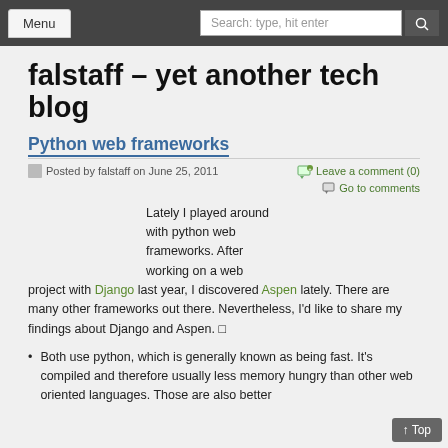Menu | Search: type, hit enter
falstaff – yet another tech blog
Python web frameworks
Posted by falstaff on June 25, 2011 | Leave a comment (0) | Go to comments
Lately I played around with python web frameworks. After working on a web project with Django last year, I discovered Aspen lately. There are many other frameworks out there. Nevertheless, I'd like to share my findings about Django and Aspen.
Both use python, which is generally known as being fast. It's compiled and therefore usually less memory hungry than other web oriented languages. Those are also better